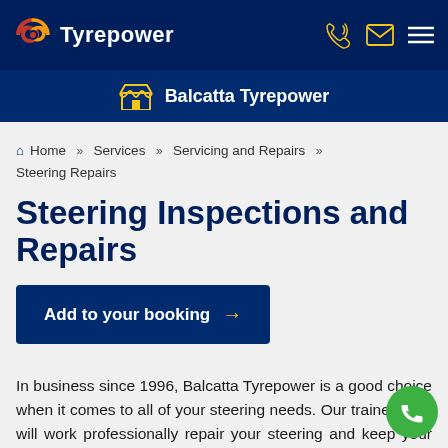Tyrepower
Balcatta Tyrepower
Home >> Services >> Servicing and Repairs >> Steering Repairs
Steering Inspections and Repairs
Add to your booking →
In business since 1996, Balcatta Tyrepower is a good choice when it comes to all of your steering needs. Our trained staff will work professionally repair your steering and keep your cost cheap while